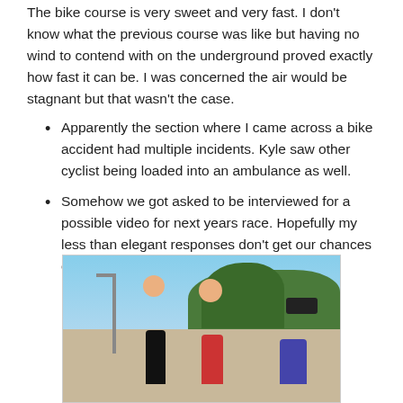The bike course is very sweet and very fast.  I don't know what the previous course was like but having no wind to contend with on the underground proved exactly how fast it can be.  I was concerned the air would be stagnant but that wasn't the case.
Apparently the section where I came across a bike accident had multiple incidents.  Kyle saw other cyclist being loaded into an ambulance as well.
Somehow we got asked to be interviewed for a possible video for next years race.  Hopefully my less than elegant responses don't get our chances cut on the editing room floor.
[Figure (photo): Outdoor scene showing people at what appears to be a race finish area or event zone. A person in dark clothing stands with back to camera, facing two athletes (one in red/white triathlon gear, one with a white cap). A camera operator films them on the right. Trees and a lamp post are visible in the background under a sunny blue sky.]